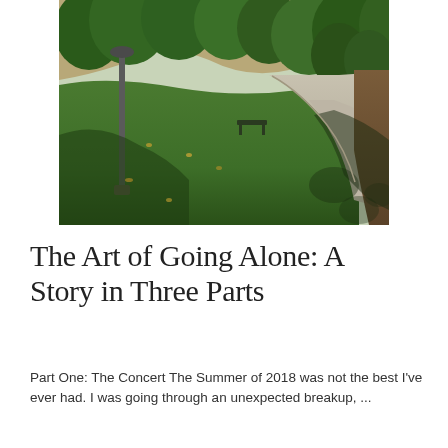[Figure (photo): Outdoor park scene with a paved walkway curving to the right, green grass lawn, trees, a lamp post on the left, a bench along the path, and dappled shadows on the sidewalk. Natural daylight, late summer or early autumn setting.]
The Art of Going Alone: A Story in Three Parts
Part One: The Concert The Summer of 2018 was not the best I've ever had. I was going through an unexpected breakup, ...